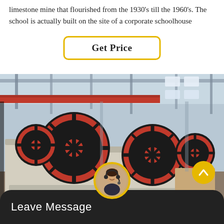limestone mine that flourished from the 1930's till the 1960's. The school is actually built on the site of a corporate schoolhouse
Get Price
[Figure (photo): Industrial jaw crusher machines in a large factory/warehouse setting with red flywheel mechanisms and structural steel framework overhead.]
Leave Message